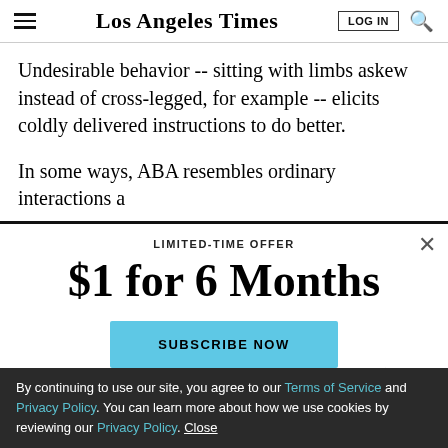Los Angeles Times
Undesirable behavior -- sitting with limbs askew instead of cross-legged, for example -- elicits coldly delivered instructions to do better.
In some ways, ABA resembles ordinary interactions a
LIMITED-TIME OFFER
$1 for 6 Months
SUBSCRIBE NOW
By continuing to use our site, you agree to our Terms of Service and Privacy Policy. You can learn more about how we use cookies by reviewing our Privacy Policy. Close